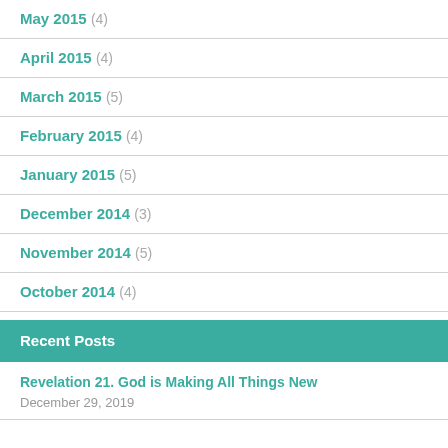May 2015 (4)
April 2015 (4)
March 2015 (5)
February 2015 (4)
January 2015 (5)
December 2014 (3)
November 2014 (5)
October 2014 (4)
Recent Posts
Revelation 21. God is Making All Things New
December 29, 2019